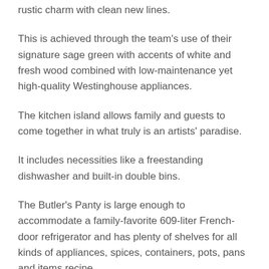rustic charm with clean new lines.
This is achieved through the team’s use of their signature sage green with accents of white and fresh wood combined with low-maintenance yet high-quality Westinghouse appliances.
The kitchen island allows family and guests to come together in what truly is an artists’ paradise.
It includes necessities like a freestanding dishwasher and built-in double bins.
The Butler’s Panty is large enough to accommodate a family-favorite 609-liter French-door refrigerator and has plenty of shelves for all kinds of appliances, spices, containers, pots, pans and items recipe.
Folding doors behind the island open to reveal a stunning